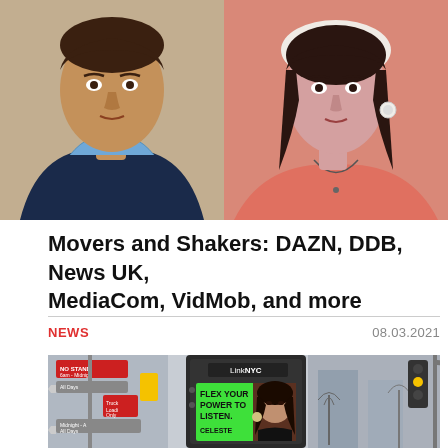[Figure (photo): Two headshots side by side: left shows a middle-aged man in a blue shirt and dark blazer against a light background; right shows a woman in a pink/coral top with dark hair and a necklace against a light background.]
Movers and Shakers: DAZN, DDB, News UK, MediaCom, VidMob, and more
NEWS
08.03.2021
[Figure (photo): Street scene in New York City showing a LinkNYC kiosk with a bright green advertisement reading 'FLEX YOUR POWER TO LISTEN. CELESTE' featuring a young woman. NYC street signs visible on the left, traffic lights and bare trees visible on the right.]